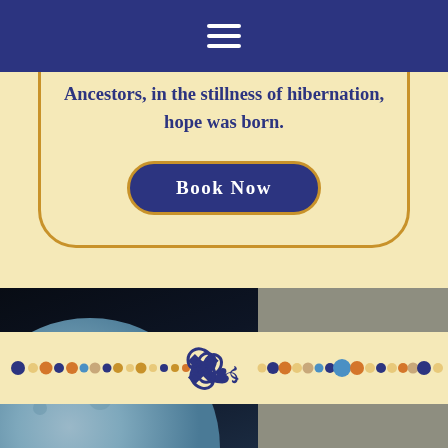Navigation menu bar
Ancestors, in the stillness of hibernation, hope was born.
Book Now
[Figure (illustration): Decorative dot divider row with a triskelion (Celtic triple spiral) symbol in the center. Dots are multicolored: dark blue, orange, light blue, tan, gold, arranged in a line on both sides of the triskelion.]
[Figure (photo): Bottom left: dark night sky with a large blue-tinted moon partially visible in lower left corner. Bottom right: gray/taupe solid color background.]